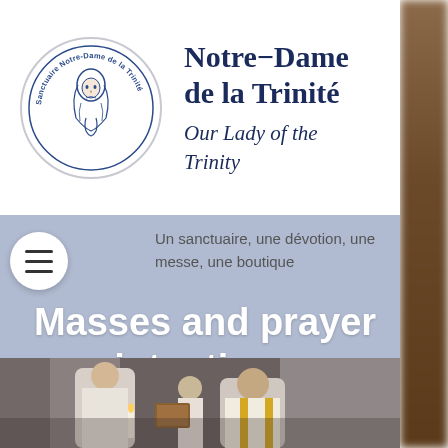[Figure (logo): Circular logo of Sanctuaire Notre-Dame de la Trinité with illustration of the Virgin Mary and text around the border]
Notre-Dame de la Trinité
Our Lady of the Trinity
Un sanctuaire, une dévotion, une messe, une boutique
Masses and prayer intentions
[Figure (logo): Boutique des Anges circular logo badge in blue with church statue]
[Figure (photo): Photo of priests during a mass ceremony inside a church]